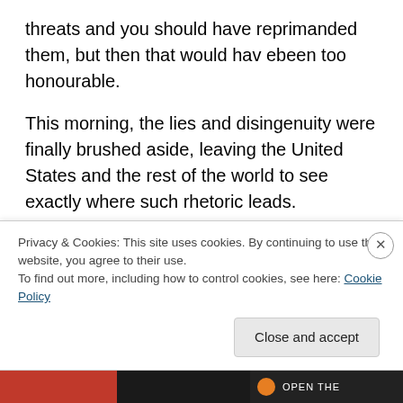threats and you should have reprimanded them, but then that would hav ebeen too honourable.
This morning, the lies and disingenuity were finally brushed aside, leaving the United States and the rest of the world to see exactly where such rhetoric leads.
This morning, Democratic Arizona Congresswoman, Gabrielle Giffords was holding what is known as a “meet-and-greet” with her local staff and constituents at a supermarket, when a would-be assassin shot her in the
Privacy & Cookies: This site uses cookies. By continuing to use this website, you agree to their use.
To find out more, including how to control cookies, see here: Cookie Policy
Close and accept